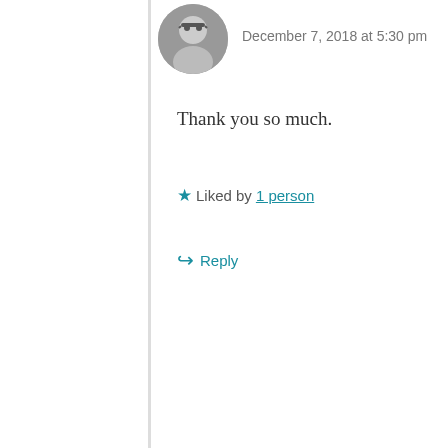[Figure (photo): Circular avatar photo of a man with glasses, black and white photo]
December 7, 2018 at 5:30 pm
Thank you so much.
Liked by 1 person
Reply
[Figure (photo): Circular avatar photo of Leah Chrestien, a woman in orange/red top]
Leah Chrestien
December 7, 2018 at 5:30 pm
Very sad to hear that the Shantiniketan of the olden days is no more. I used to be a regular visitor every basanta utsab and poush mela. I used to stay close to Prantik but somehow,